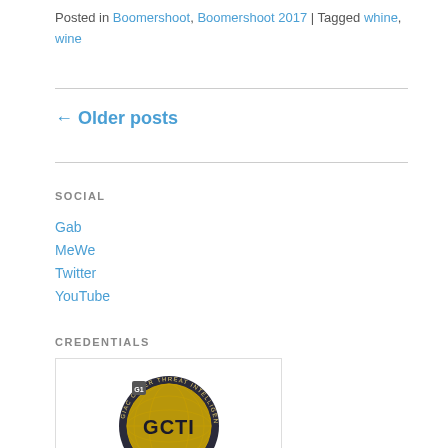Posted in Boomershoot, Boomershoot 2017 | Tagged whine, wine
← Older posts
SOCIAL
Gab
MeWe
Twitter
YouTube
CREDENTIALS
[Figure (logo): GCTI - GIAC Cyber Threat Intelligence badge/credential logo, circular dark badge with gold globe and GCTI text]